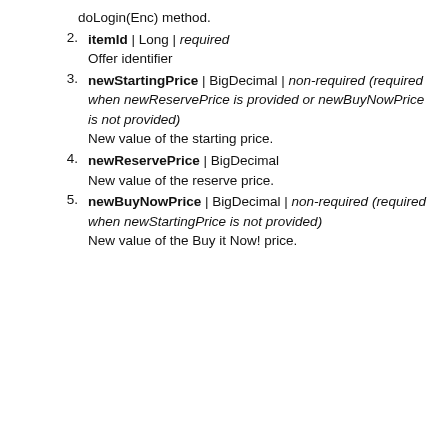doLogin(Enc) method.
2. itemId | Long | required
Offer identifier
3. newStartingPrice | BigDecimal | non-required (required when newReservePrice is provided or newBuyNowPrice is not provided)
New value of the starting price.
4. newReservePrice | BigDecimal
New value of the reserve price.
5. newBuyNowPrice | BigDecimal | non-required (required when newStartingPrice is not provided)
New value of the Buy it Now! price.